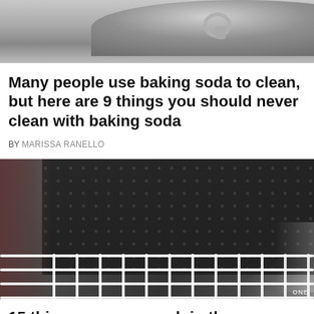[Figure (photo): Close-up photo of a metal kettle or appliance with a circular hook/ring, viewed from above against a gray background]
Many people use baking soda to clean, but here are 9 things you should never clean with baking soda
BY MARISSA RANELLO
[Figure (photo): Close-up photo of a dishwasher interior showing the dark perforated drum cylinder and white wire dish rack basket in the foreground]
15 things you can wash in the dishwasher